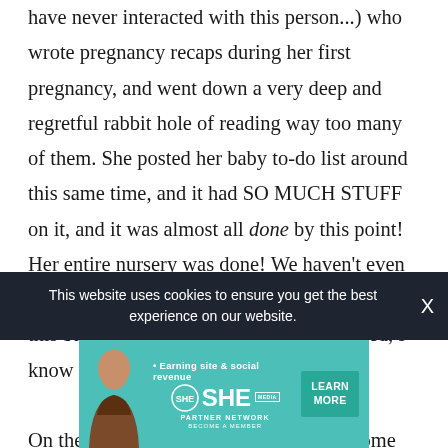have never interacted with this person...) who wrote pregnancy recaps during her first pregnancy, and went down a very deep and regretful rabbit hole of reading way too many of them. She posted her baby to-do list around this same time, and it had SO MUCH STUFF on it, and it was almost all done by this point! Her entire nursery was done! We haven't even moved into the home we'll be living in when this baby comes home. And I'm not stressed, I know we have plenty of time. But damn.

On the plus side, Brian and I did spend some time on the Fourth for various stuff. We picked up the...
This website uses cookies to ensure you get the best experience on our website.
[Figure (advertisement): SHE Partner Network advertisement banner on teal background with woman silhouette and Learn More button]